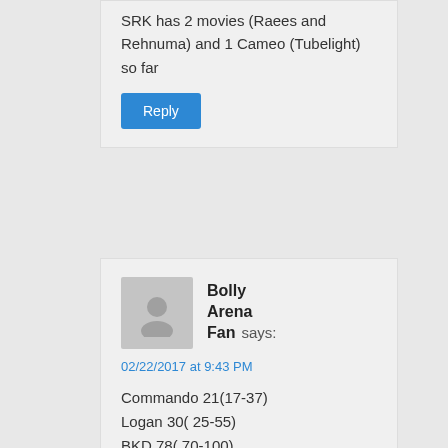SRK has 2 movies (Raees and Rehnuma) and 1 Cameo (Tubelight) so far
Reply
Bolly Arena Fan says:
02/22/2017 at 9:43 PM
Commando 21(17-37)
Logan 30( 25-55)
BKD 78( 70-100)